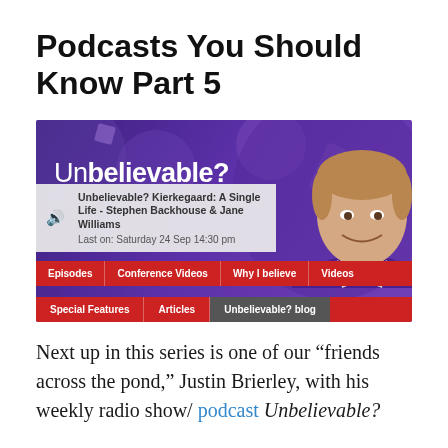Podcasts You Should Know Part 5
[Figure (screenshot): Screenshot of the Unbelievable? podcast website showing the show logo with text 'Unbelievable?' on a purple background with a photo of the host, a navigation bar with Episodes, Conference Videos, Why I believe, Videos, Special Features, Articles, Unbelievable? blog, and an episode listing: 'Unbelievable? Kierkegaard: A Single Life - Stephen Backhouse & Jane Williams, Last on: Saturday 24 Sep 14:30 pm']
Next up in this series is one of our “friends across the pond,” Justin Brierley, with his weekly radio show/ podcast Unbelievable?